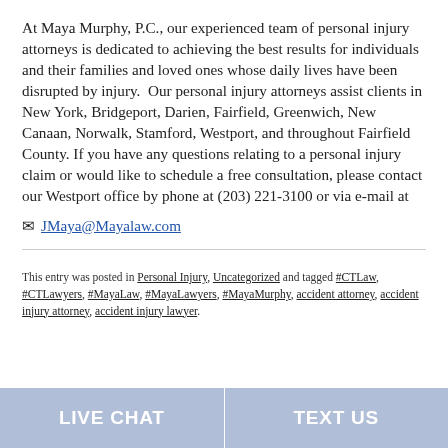At Maya Murphy, P.C., our experienced team of personal injury attorneys is dedicated to achieving the best results for individuals and their families and loved ones whose daily lives have been disrupted by injury.  Our personal injury attorneys assist clients in New York, Bridgeport, Darien, Fairfield, Greenwich, New Canaan, Norwalk, Stamford, Westport, and throughout Fairfield County. If you have any questions relating to a personal injury claim or would like to schedule a free consultation, please contact our Westport office by phone at (203) 221-3100 or via e-mail at ✉ JMaya@Mayalaw.com
This entry was posted in Personal Injury, Uncategorized and tagged #CTLaw, #CTLawyers, #MayaLaw, #MayaLawyers, #MayaMurphy, accident attorney, accident injury attorney, accident injury lawyer.
LIVE CHAT   TEXT US